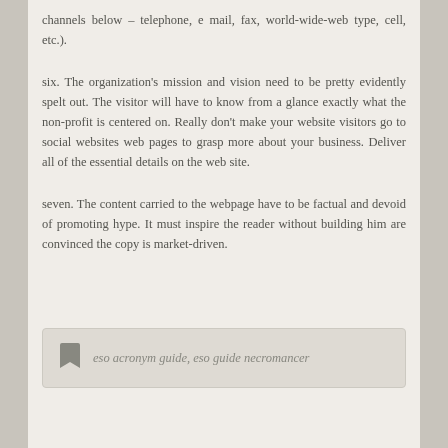channels below – telephone, e mail, fax, world-wide-web type, cell, etc.).
six. The organization's mission and vision need to be pretty evidently spelt out. The visitor will have to know from a glance exactly what the non-profit is centered on. Really don't make your website visitors go to social websites web pages to grasp more about your business. Deliver all of the essential details on the web site.
seven. The content carried to the webpage have to be factual and devoid of promoting hype. It must inspire the reader without building him are convinced the copy is market-driven.
eso acronym guide, eso guide necromancer